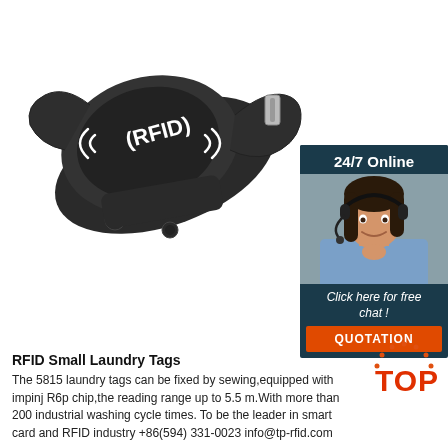[Figure (photo): Black RFID silicone wristband with (RFID) text and signal waves on the face, shown at an angle on white background]
[Figure (infographic): Chat widget panel with dark teal background showing '24/7 Online', photo of smiling woman with headset, text 'Click here for free chat!' and orange QUOTATION button]
RFID Small Laundry Tags
The 5815 laundry tags can be fixed by sewing,equipped with impinj R6p chip,the reading range up to 5.5 m.With more than 200 industrial washing cycle times. To be the leader in smart card and RFID industry +86(594) 331-0023 info@tp-rfid.com
[Figure (logo): TOP logo in orange and red with dotted arc above]